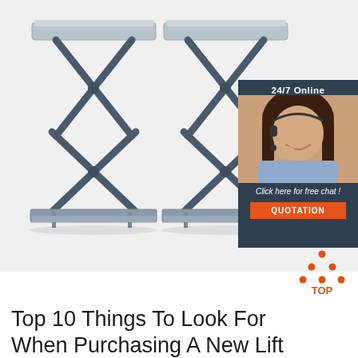[Figure (photo): Two industrial scissor lift tables with grey metal frames and flat platforms, shown elevated on base plates. White background. Overlay in top-right corner shows a dark navy panel with '24/7 Online' text, a customer service representative with headset, italic text 'Click here for free chat !', and an orange 'QUOTATION' button.]
[Figure (logo): Orange/red dotted triangle 'TOP' logo with text 'TOP' beneath, positioned bottom right]
Top 10 Things To Look For When Purchasing A New Lift